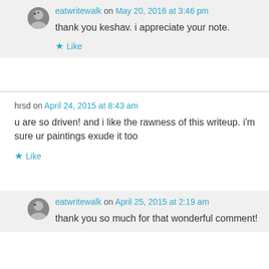eatwritewalk on May 20, 2016 at 3:46 pm
thank you keshav. i appreciate your note.
Like
hrsd on April 24, 2015 at 8:43 am
u are so driven! and i like the rawness of this writeup. i'm sure ur paintings exude it too
Like
eatwritewalk on April 25, 2015 at 2:19 am
thank you so much for that wonderful comment!